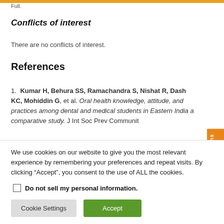Full.
Conflicts of interest
There are no conflicts of interest.
References
1. Kumar H, Behura SS, Ramachandra S, Nishat R, Dash KC, Mohiddin G, et al. Oral health knowledge, attitude, and practices among dental and medical students in Eastern India a comparative study. J Int Soc Prev Communit
We use cookies on our website to give you the most relevant experience by remembering your preferences and repeat visits. By clicking “Accept”, you consent to the use of ALL the cookies.
Do not sell my personal information.